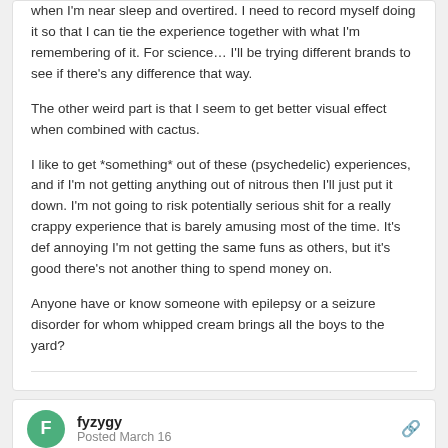when I'm near sleep and overtired. I need to record myself doing it so that I can tie the experience together with what I'm remembering of it. For science… I'll be trying different brands to see if there's any difference that way.
The other weird part is that I seem to get better visual effect when combined with cactus.
I like to get *something* out of these (psychedelic) experiences, and if I'm not getting anything out of nitrous then I'll just put it down. I'm not going to risk potentially serious shit for a really crappy experience that is barely amusing most of the time. It's def annoying I'm not getting the same funs as others, but it's good there's not another thing to spend money on.
Anyone have or know someone with epilepsy or a seizure disorder for whom whipped cream brings all the boys to the yard?
fyzygy
Posted March 16